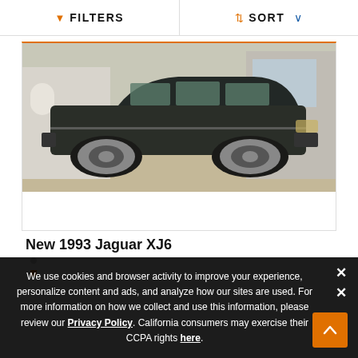FILTERS   SORT
[Figure (photo): Side profile of a dark green/black 1993 Jaguar XJ6 sedan parked on a gravel/dirt area in front of a house and outbuildings. The car has chrome trim and alloy wheels.]
New 1993 Jaguar XJ6
We use cookies and browser activity to improve your experience, personalize content and ads, and analyze how our sites are used. For more information on how we collect and use this information, please review our Privacy Policy. California consumers may exercise their CCPA rights here.